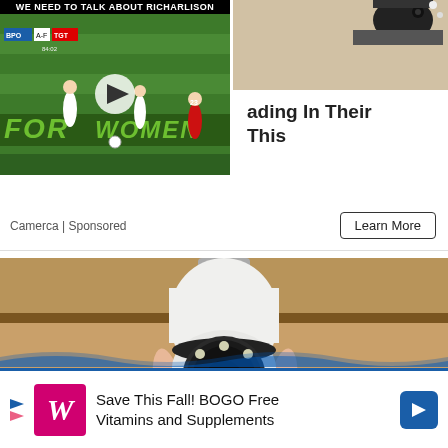[Figure (screenshot): Soccer/football video thumbnail showing players on green field with banner reading 'WE NEED TO TALK ABOUT RICHARLISON'. Green text banner at bottom reads 'FOR WOMEN'. Play button overlay in center. Top-right shows a security camera device mounted on wall.]
ading In Their
This
Camerca | Sponsored
Learn More
[Figure (photo): Hand holding a white lightbulb-shaped security camera with black circular lens and LED ring, photographed against wooden shelf background.]
Save This Fall! BOGO Free Vitamins and Supplements
[Figure (logo): Walgreens W logo in pink/red square and blue navigation arrow icon. Walgreens advertisement banner.]